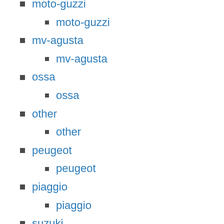moto-guzzi
moto-guzzi
mv-agusta
mv-agusta
ossa
ossa
other
other
peugeot
peugeot
piaggio
piaggio
suzuki
suzuki
triumph
triumph
ural
ural